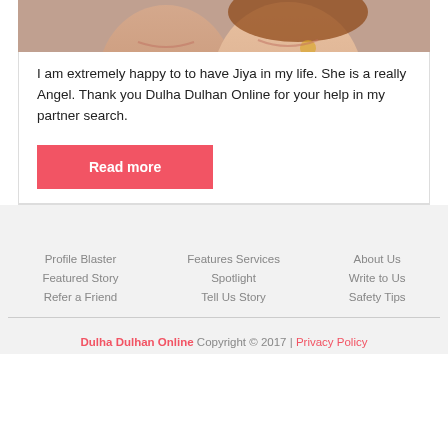[Figure (photo): Smiling couple, partial faces visible at top of card]
I am extremely happy to to have Jiya in my life. She is a really Angel. Thank you Dulha Dulhan Online for your help in my partner search.
[Figure (other): Red 'Read more' button]
Profile Blaster
Featured Story
Refer a Friend
Features Services
Spotlight
Tell Us Story
About Us
Write to Us
Safety Tips
Dulha Dulhan Online Copyright © 2017 | Privacy Policy